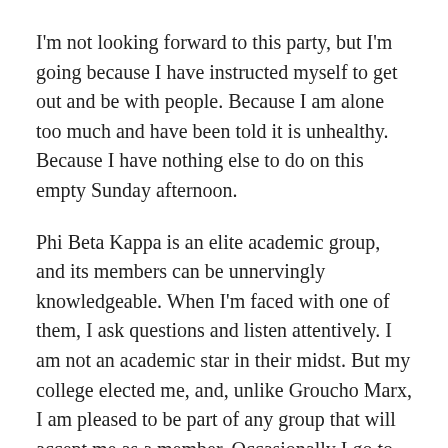I'm not looking forward to this party, but I'm going because I have instructed myself to get out and be with people. Because I am alone too much and have been told it is unhealthy. Because I have nothing else to do on this empty Sunday afternoon.
Phi Beta Kappa is an elite academic group, and its members can be unnervingly knowledgeable. When I'm faced with one of them, I ask questions and listen attentively. I am not an academic star in their midst. But my college elected me, and, unlike Groucho Marx, I am pleased to be part of any group that will accept me as a member. Occasionally I go to the Chapter's book club, although its reading selections are typically challenging and long. Very long. However, we meet at a nice restaurant, and I usually manage to contribute something to the discussion. More importantly, I